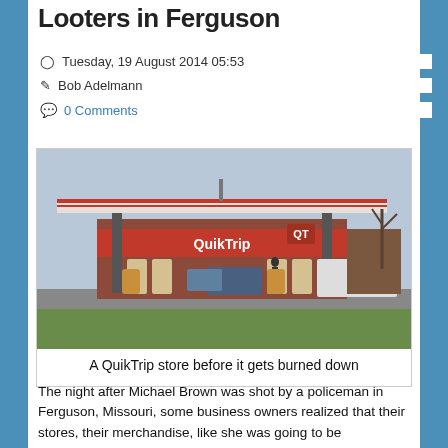Looters in Ferguson
Tuesday, 19 August 2014 05:53
Bob Adelmann
0 Comments
[Figure (photo): A QuikTrip gas station and convenience store, exterior view showing the canopy, red QuikTrip sign, pumps, and vehicles in the parking lot]
A QuikTrip store before it gets burned down
The night after Michael Brown was shot by a policeman in Ferguson, Missouri, some business owners realized that their stores, their merchandise, like she was going to be...